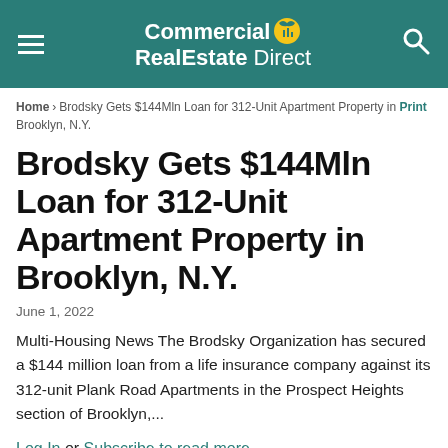Commercial RealEstate Direct
Home > Brodsky Gets $144Mln Loan for 312-Unit Apartment Property in Brooklyn, N.Y. Print
Brodsky Gets $144Mln Loan for 312-Unit Apartment Property in Brooklyn, N.Y.
June 1, 2022
Multi-Housing News The Brodsky Organization has secured a $144 million loan from a life insurance company against its 312-unit Plank Road Apartments in the Prospect Heights section of Brooklyn,...
Log In or Subscribe to read more